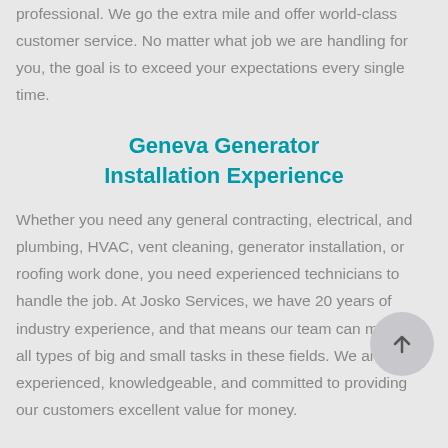professional. We go the extra mile and offer world-class customer service. No matter what job we are handling for you, the goal is to exceed your expectations every single time.
Geneva Generator Installation Experience
Whether you need any general contracting, electrical, and plumbing, HVAC, vent cleaning, generator installation, or roofing work done, you need experienced technicians to handle the job. At Josko Services, we have 20 years of industry experience, and that means our team can manage all types of big and small tasks in these fields. We are experienced, knowledgeable, and committed to providing our customers excellent value for money.